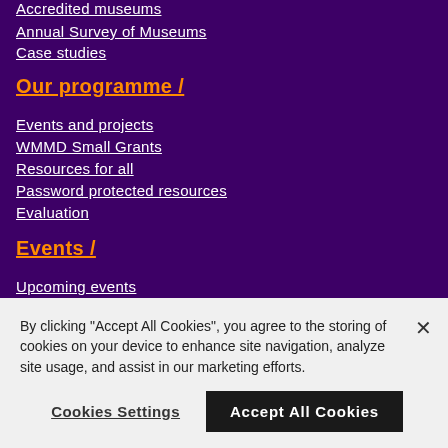Accredited museums
Annual Survey of Museums
Case studies
Our programme /
Events and projects
WMMD Small Grants
Resources for all
Password protected resources
Evaluation
Events /
Upcoming events
By clicking “Accept All Cookies”, you agree to the storing of cookies on your device to enhance site navigation, analyze site usage, and assist in our marketing efforts.
Cookies Settings
Accept All Cookies